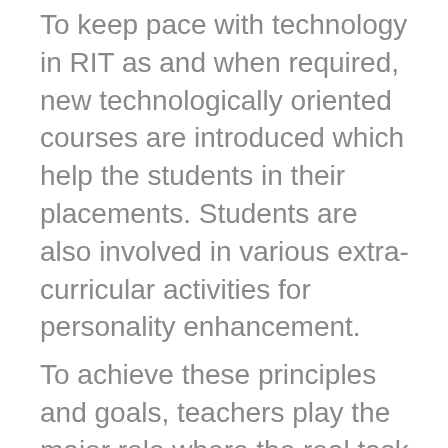To keep pace with technology in RIT as and when required, new technologically oriented courses are introduced which help the students in their placements. Students are also involved in various extra-curricular activities for personality enhancement. To achieve these principles and goals, teachers play the major role where the real task of a teacher is to provide basic skills, knowledge and research ability to improve creativity, all of which are necessary for success. Faculty members are committed in the growth of students by providing uncompromising standards of excellence in training the students,